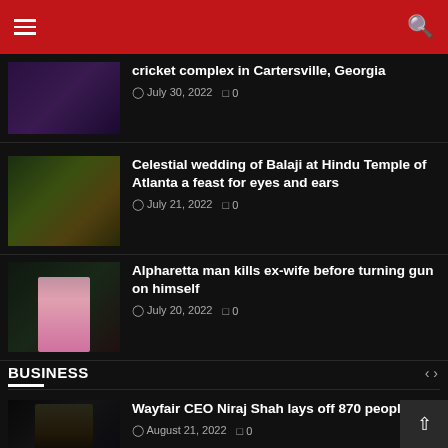Navigation bar with hamburger menu and search icon
cricket complex in Cartersville, Georgia
July 30, 2022  0
Celestial wedding of Balaji at Hindu Temple of Atlanta a feast for eyes and ears
July 21, 2022  0
Alpharetta man kills ex-wife before turning gun on himself
July 20, 2022  0
BUSINESS
Wayfair CEO Niraj Shah lays off 870 peopl
August 21, 2022  0